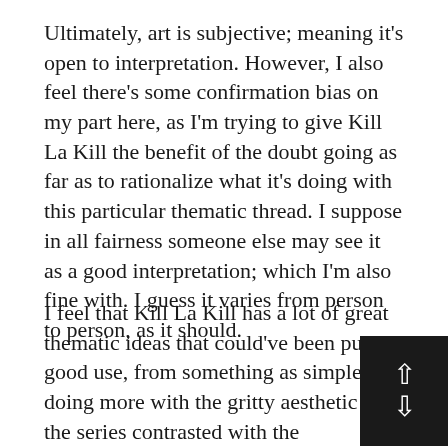Ultimately, art is subjective; meaning it's open to interpretation. However, I also feel there's some confirmation bias on my part here, as I'm trying to give Kill La Kill the benefit of the doubt going as far as to rationalize what it's doing with this particular thematic thread. I suppose in all fairness someone else may see it as a good interpretation; which I'm also fine with. I guess it varies from person to person, as it should.
I feel that Kill La Kill has a lot of great thematic ideas that could've been put to good use, from something as simple as doing more with the gritty aesthetic of the series contrasted with the lighthearted comedy, to the tyranny and oppression motif complete with 1984 references and high school life. At the same time, Kill